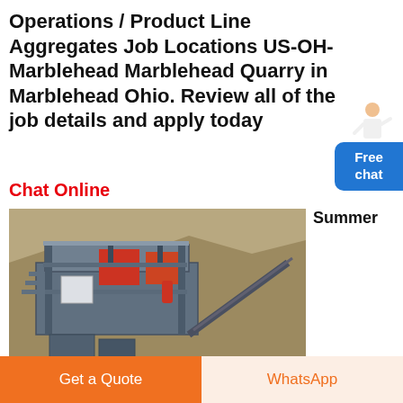Operations / Product Line Aggregates Job Locations US-OH-Marblehead Marblehead Quarry in Marblehead Ohio. Review all of the job details and apply today
Chat Online
[Figure (photo): Industrial quarry crushing machine with metal frame, conveyor, and red components set against a rocky hillside background]
Summer
Get a Quote
WhatsApp